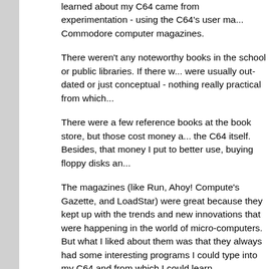learned about my C64 came from experimentation - using the C64's user ma... Commodore computer magazines.
There weren't any noteworthy books in the school or public libraries. If there w... were usually out-dated or just conceptual - nothing really practical from which...
There were a few reference books at the book store, but those cost money a... the C64 itself. Besides, that money I put to better use, buying floppy disks an...
The magazines (like Run, Ahoy! Compute's Gazette, and LoadStar) were great because they kept up with the trends and new innovations that were happening in the world of micro-computers. But what I liked about them was that they always had some interesting programs I could type into my C64 and from which I could learn.
I could understand why some people would find typing in your own programs from the magazines a boring and tedious task. But, I used them as my own computer lessons. I not only typed the programs in to my C64 to play the games, but I also tried to understand what the code did and why it was necessary to the program.
Of course, it was the games and programs that used Commodore BASIC that were the ones from which I learned. Those that were in hexadecimal and... for me - for learning purposes - but were still enjoyable to play once the codin...